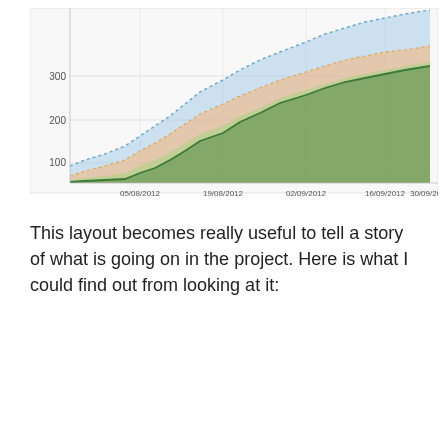[Figure (area-chart): Stacked area chart showing cumulative counts over time from 05/08/2012 to 30/09/2012, with y-axis labels at 100, 200, 300. Multiple colored bands (blue dotted, pink/orange, yellow/green, dark green solid line) representing different project metrics.]
This layout becomes really useful to tell a story of what is going on in the project. Here is what I could find out from looking at it: